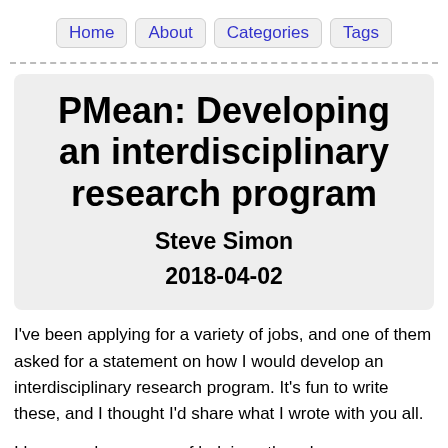Home   About   Categories   Tags
PMean: Developing an interdisciplinary research program
Steve Simon
2018-04-02
I've been applying for a variety of jobs, and one of them asked for a statement on how I would develop an interdisciplinary research program. It's fun to write these, and I thought I'd share what I wrote with you all.
I have made a career of helping others become successful